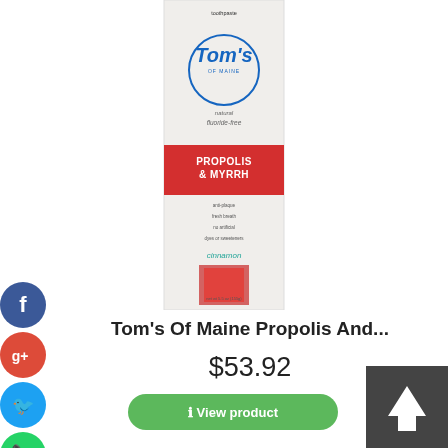[Figure (photo): Tom's of Maine Propolis and Myrrh toothpaste box - top portion showing red band with product name and product image (top half cropped)]
Tom's Of Maine Propolis And...
$53.92
[Figure (other): Green rounded button with text 'i View product']
[Figure (photo): Tom's of Maine Propolis and Myrrh toothpaste full box with Tom's logo, natural fluoride-free label, red band, fennel flavor, and plant imagery at bottom]
[Figure (infographic): Social media sharing icons column on left side: Facebook (blue circle), Google+ (red circle), Twitter (blue circle), WhatsApp (green circle), Viber (purple circle), SMS (green circle), LinkedIn (blue circle)]
[Figure (other): Dark gray back-to-top button with upward arrow in bottom right corner]